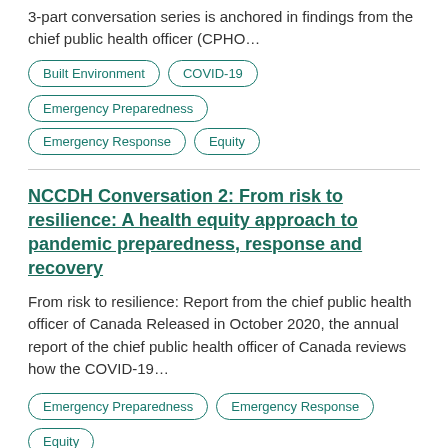3-part conversation series is anchored in findings from the chief public health officer (CPHO…
Built Environment
COVID-19
Emergency Preparedness
Emergency Response
Equity
NCCDH Conversation 2: From risk to resilience: A health equity approach to pandemic preparedness, response and recovery
From risk to resilience: Report from the chief public health officer of Canada Released in October 2020, the annual report of the chief public health officer of Canada reviews how the COVID-19…
Emergency Preparedness
Emergency Response
Equity